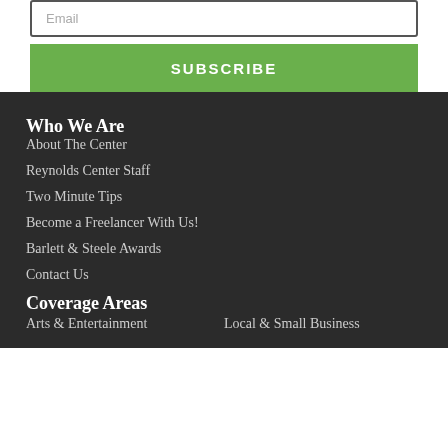Email
SUBSCRIBE
Who We Are
About The Center
Reynolds Center Staff
Two Minute Tips
Become a Freelancer With Us!
Barlett & Steele Awards
Contact Us
Coverage Areas
Arts & Entertainment
Local & Small Business